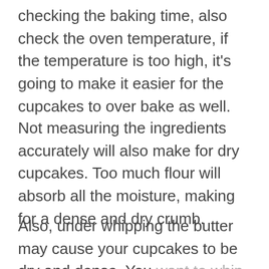checking the baking time, also check the oven temperature, if the temperature is too high, it's going to make it easier for the cupcakes to over bake as well.
Not measuring the ingredients accurately will also make for dry cupcakes. Too much flour will absorb all the moisture, making for a dense and dry crumb.
Also, under whipping the butter may cause your cupcakes to be dry and dense. You want to whip the butter to the point where it's fluffy and airy, this is the basis that will